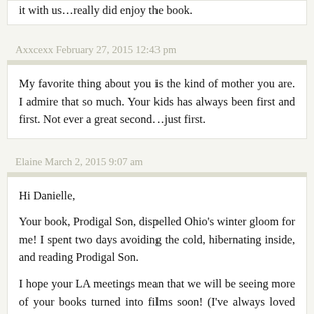it with us…really did enjoy the book.
Axxcexx February 27, 2015 12:43 pm
My favorite thing about you is the kind of mother you are. I admire that so much. Your kids has always been first and first. Not ever a great second…just first.
Elaine March 2, 2015 9:07 am
Hi Danielle,
Your book, Prodigal Son, dispelled Ohio's winter gloom for me! I spent two days avoiding the cold, hibernating inside, and reading Prodigal Son.
I hope your LA meetings mean that we will be seeing more of your books turned into films soon! (I've always loved Summer's End and Impossible and would love to see